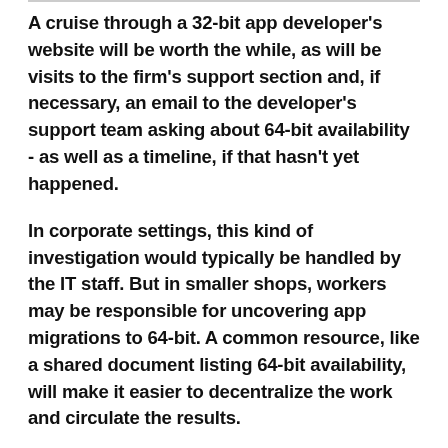A cruise through a 32-bit app developer's website will be worth the while, as will be visits to the firm's support section and, if necessary, an email to the developer's support team asking about 64-bit availability - as well as a timeline, if that hasn't yet happened.
In corporate settings, this kind of investigation would typically be handled by the IT staff. But in smaller shops, workers may be responsible for uncovering app migrations to 64-bit. A common resource, like a shared document listing 64-bit availability, will make it easier to decentralize the work and circulate the results.